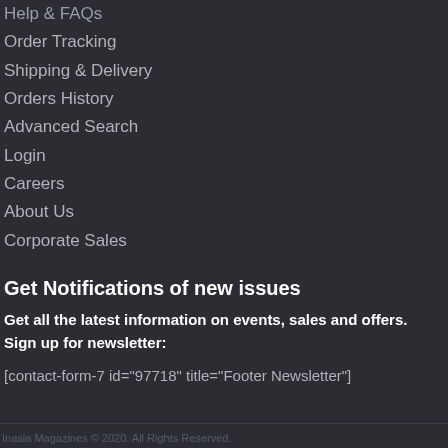Help & FAQs
Order Tracking
Shipping & Delivery
Orders History
Advanced Search
Login
Careers
About Us
Corporate Sales
Get Notifications of new issues
Get all the latest information on events, sales and offers. Sign up for newsletter:
[contact-form-7 id="97718" title="Footer Newsletter"]
Inasia Magazines © 2020. All Rights Reserved.